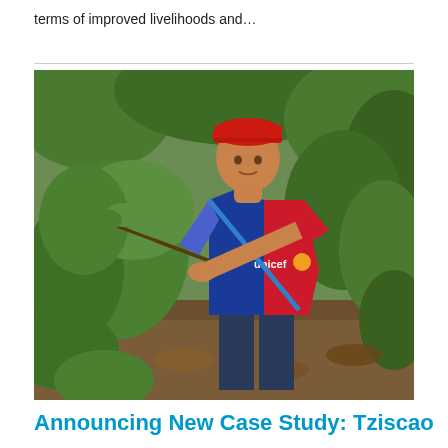terms of improved livelihoods and…
[Figure (photo): A man wearing a red and blue FC Barcelona jersey with Unicef logo and a red cap, standing in a lush green forest/jungle environment, pointing to a plant with his right hand. A blue strap crosses his chest.]
Announcing New Case Study: Tziscao